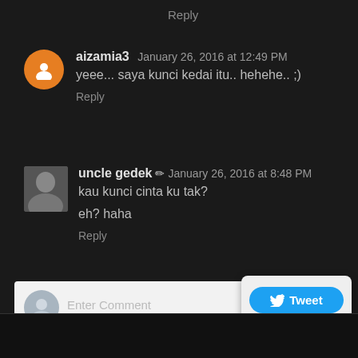Reply
aizamia3  January 26, 2016 at 12:49 PM
yeee... saya kunci kedai itu.. hehehe.. ;)
Reply
uncle gedek  January 26, 2016 at 8:48 PM
kau kunci cinta ku tak?
eh? haha
Reply
[Figure (screenshot): Comment input box with placeholder 'Enter Comment']
[Figure (infographic): Tweet and Share popup widget with blue Tweet button and Share text and [Get This] link]